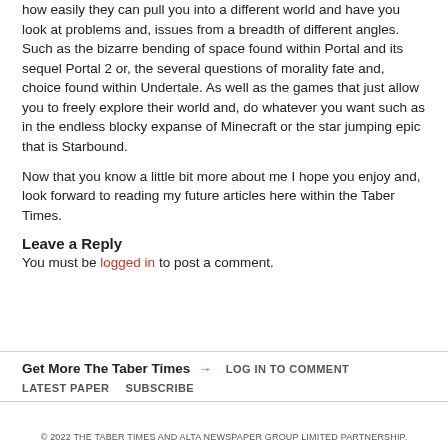how easily they can pull you into a different world and have you look at problems and, issues from a breadth of different angles. Such as the bizarre bending of space found within Portal and its sequel Portal 2 or, the several questions of morality fate and, choice found within Undertale. As well as the games that just allow you to freely explore their world and, do whatever you want such as in the endless blocky expanse of Minecraft or the star jumping epic that is Starbound.
Now that you know a little bit more about me I hope you enjoy and, look forward to reading my future articles here within the Taber Times.
Leave a Reply
You must be logged in to post a comment.
Get More The Taber Times → LOG IN TO COMMENT LATEST PAPER SUBSCRIBE
© 2022 THE TABER TIMES AND ALTA NEWSPAPER GROUP LIMITED PARTNERSHIP.